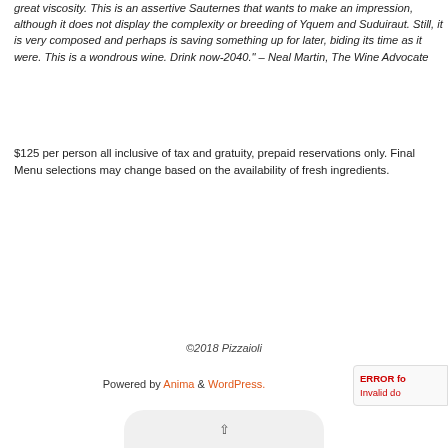great viscosity. This is an assertive Sauternes that wants to make an impression, although it does not display the complexity or breeding of Yquem and Suduiraut. Still, it is very composed and perhaps is saving something up for later, biding its time as it were. This is a wondrous wine. Drink now-2040." – Neal Martin, The Wine Advocate
$125 per person all inclusive of tax and gratuity, prepaid reservations only. Final Menu selections may change based on the availability of fresh ingredients.
©2018 Pizzaioli
Powered by Anima & WordPress.